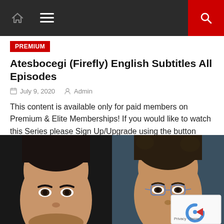Navigation bar with home icon, menu icon, and search button
PREMIUM
Atesbocegi (Firefly) English Subtitles All Episodes
July 9, 2020   Admin
This content is available only for paid members on Premium & Elite Memberships! If you would like to watch this Series please Sign Up/Upgrade using the button below!  If you already are a member login below! If you have any questions Contact Us! Note: Paid Members watch the videos Without ADS! Username Password Remember Me [...]
[Figure (photo): Close-up photo of two people: a young person with straight dark hair and bangs on the left, and a man with curly hair wearing glasses on the right, against a blurred background]